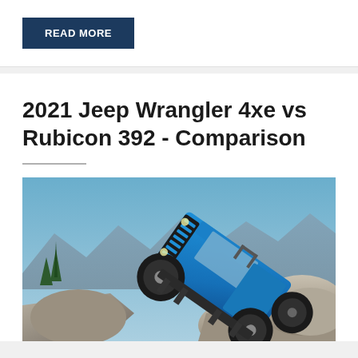READ MORE
2021 Jeep Wrangler 4xe vs Rubicon 392 - Comparison
[Figure (photo): Blue Jeep Wrangler climbing over large boulders at a steep angle, with pine trees and mountains visible in the background under a blue sky.]